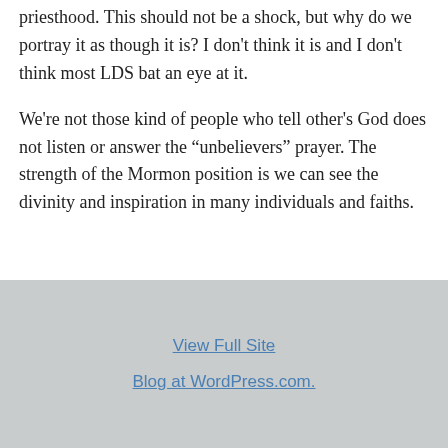priesthood. This should not be a shock, but why do we portray it as though it is? I don't think it is and I don't think most LDS bat an eye at it.
We're not those kind of people who tell other's God does not listen or answer the “unbelievers” prayer. The strength of the Mormon position is we can see the divinity and inspiration in many individuals and faiths.
View Full Site
Blog at WordPress.com.